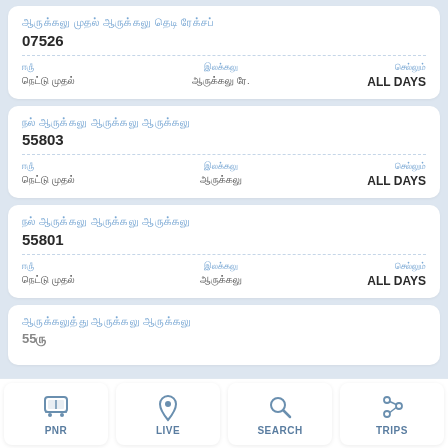07526
ALL DAYS
55803
ALL DAYS
55801
ALL DAYS
PNR | LIVE | SEARCH | TRIPS